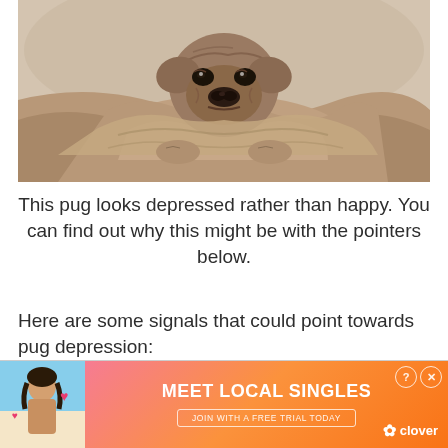[Figure (photo): A pug dog wrapped in a blanket looking sad or depressed, photographed in a cozy indoor setting]
This pug looks depressed rather than happy. You can find out why this might be with the pointers below.
Here are some signals that could point towards pug depression:
[Figure (photo): Advertisement banner - Meet Local Singles - clover app ad with photo of woman]